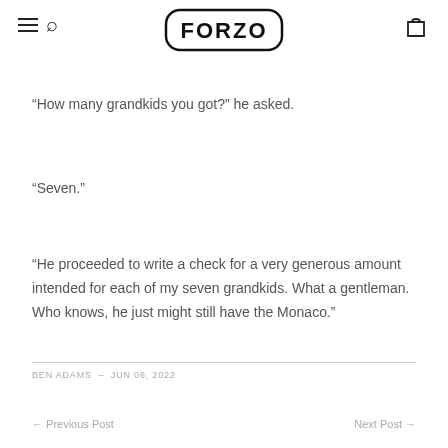FORZO
“How many grandkids you got?” he asked.
“Seven.”
“He proceeded to write a check for a very generous amount intended for each of my seven grandkids. What a gentleman. Who knows, he just might still have the Monaco.”
BEN ADAMS – JUN 06, 2022
← Previous Post    Next Post →